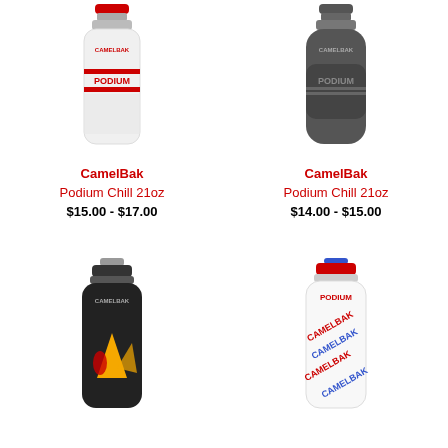[Figure (photo): CamelBak Podium Chill 21oz water bottle, white/clear with red accents and red cap]
CamelBak Podium Chill 21oz
$15.00 - $17.00
[Figure (photo): CamelBak Podium Chill 21oz water bottle, dark gray/charcoal color]
CamelBak Podium Chill 21oz
$14.00 - $15.00
[Figure (photo): CamelBak water bottle, black with colorful mountain and cyclist graphic, black cap]
[Figure (photo): CamelBak Podium water bottle, white with red/blue CamelBak repeated logo pattern, red and blue cap]